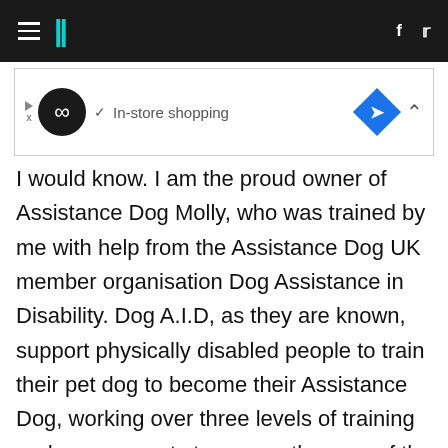HuffPost navigation bar with hamburger menu, logo, facebook and twitter icons
[Figure (screenshot): Advertisement banner with infinity logo, In-store shopping text, blue diamond direction icon, and collapse caret]
I would know. I am the proud owner of Assistance Dog Molly, who was trained by me with help from the Assistance Dog UK member organisation Dog Assistance in Disability. Dog A.I.D, as they are known, support physically disabled people to train their pet dog to become their Assistance Dog, working over three levels of training and assessments to ensure they are of the standard necessary to work in public, they do tasks to mitigate their owner's disability and are a happy, balanced, well-rounded working dog. Molly has completely transformed my life, she did just by entering my life as an eight week old